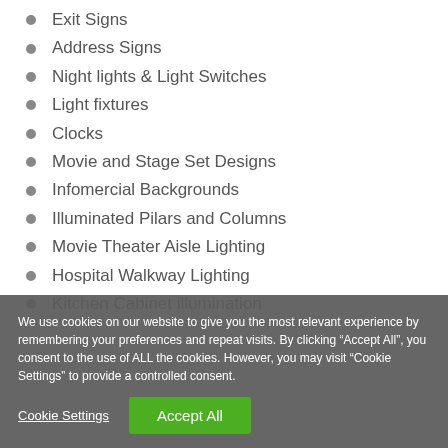Exit Signs
Address Signs
Night lights & Light Switches
Light fixtures
Clocks
Movie and Stage Set Designs
Infomercial Backgrounds
Illuminated Pilars and Columns
Movie Theater Aisle Lighting
Hospital Walkway Lighting
Kitchen Cabinet illumination
We use cookies on our website to give you the most relevant experience by remembering your preferences and repeat visits. By clicking “Accept All”, you consent to the use of ALL the cookies. However, you may visit “Cookie Settings” to provide a controlled consent.
Cookie Settings
Accept All